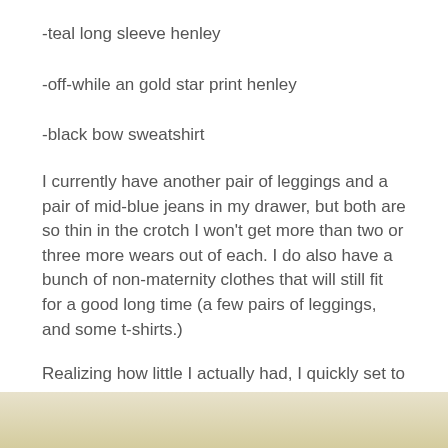-teal long sleeve henley
-off-while an gold star print henley
-black bow sweatshirt
I currently have another pair of leggings and a pair of mid-blue jeans in my drawer, but both are so thin in the crotch I won't get more than two or three more wears out of each. I do also have a bunch of non-maternity clothes that will still fit for a good long time (a few pairs of leggings, and some t-shirts.)
Realizing how little I actually had, I quickly set to project planning and scheduling makes in my calendar. In order, I plan to make
[Figure (photo): Partial view of a photo at the bottom of the page with a beige/cream background]